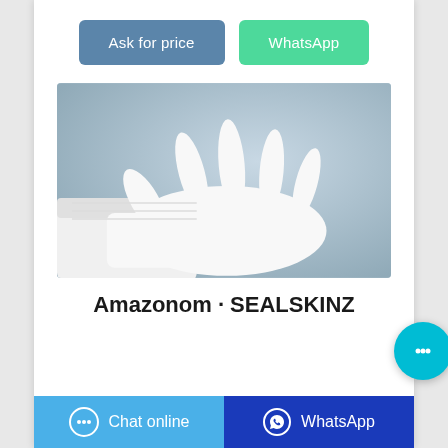Ask for price | WhatsApp
[Figure (photo): A white protective glove worn on a hand/arm, shown against a grey-blue background. The glove appears to be a clean-room or medical type glove, white in color.]
Amazonom · SEALSKINZ
Chat online | WhatsApp